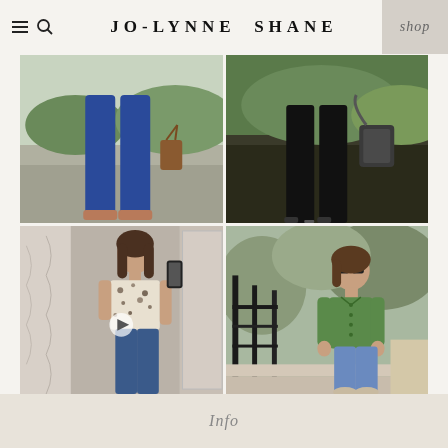JO-LYNNE SHANE
[Figure (photo): 2x2 grid of fashion photos: top-left shows blue cropped jeans with brown bag outdoors on patio; top-right shows black jeans with woven bag outdoors; bottom-left shows woman in floral sleeveless top and flare jeans taking mirror selfie; bottom-right shows woman in green jacket and jeans on outdoor stairs]
Info